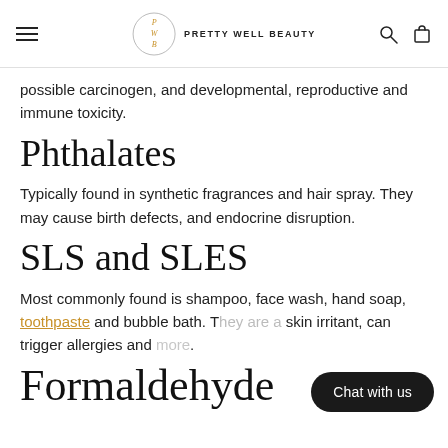PRETTY WELL BEAUTY
possible carcinogen, and developmental, reproductive and immune toxicity.
Phthalates
Typically found in synthetic fragrances and hair spray. They may cause birth defects, and endocrine disruption.
SLS and SLES
Most commonly found is shampoo, face wash, hand soap, toothpaste and bubble bath. T… skin irritant, can trigger allergies and….
Formaldehyde